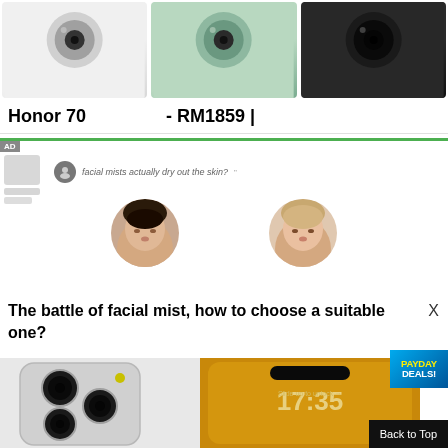[Figure (photo): Three Honor 70 smartphones in white, green, and black colorways, showing back camera modules, cropped at top]
Honor 70                    - RM1859 |
[Figure (screenshot): Advertisement banner with green top border, AD label, blurred product icons on left, chat bubble with text 'facial mists actually dry out the skin?', and two Asian women's faces side by side]
The battle of facial mist, how to choose a suitable one?
[Figure (photo): Bottom portion showing two smartphones: white iPhone-style phone with triple camera on left, and gold iPhone with lock screen showing time 17:35 on right, with PAYDAY DEALS badge overlay]
Back to Top